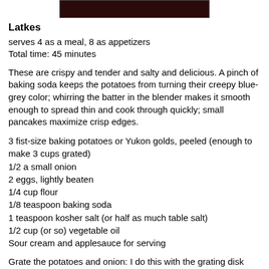[Figure (photo): Dark photo strip at top of page, partially visible]
Latkes
serves 4 as a meal, 8 as appetizers
Total time: 45 minutes
These are crispy and tender and salty and delicious. A pinch of baking soda keeps the potatoes from turning their creepy blue-grey color; whirring the batter in the blender makes it smooth enough to spread thin and cook through quickly; small pancakes maximize crisp edges.
3 fist-size baking potatoes or Yukon golds, peeled (enough to make 3 cups grated)
1/2 a small onion
2 eggs, lightly beaten
1/4 cup flour
1/8 teaspoon baking soda
1 teaspoon kosher salt (or half as much table salt)
1/2 cup (or so) vegetable oil
Sour cream and applesauce for serving
Grate the potatoes and onion: I do this with the grating disk